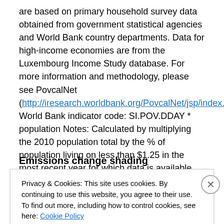are based on primary household survey data obtained from government statistical agencies and World Bank country departments. Data for high-income economies are from the Luxembourg Income Study database. For more information and methodology, please see PovcalNet (http://iresearch.worldbank.org/PovcalNet/jsp/index.jsp). World Bank indicator code: SI.POV.DDAY * population Notes: Calculated by multiplying the 2010 population total by the % of population living on less than $1.25 in the most recent year for which data is available.
Emissions change shading
Privacy & Cookies: This site uses cookies. By continuing to use this website, you agree to their use. To find out more, including how to control cookies, see here: Cookie Policy